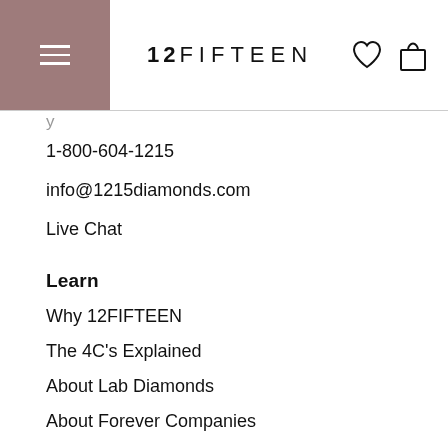12FIFTEEN
1-800-604-1215
info@1215diamonds.com
Live Chat
Learn
Why 12FIFTEEN
The 4C's Explained
About Lab Diamonds
About Forever Companies
Blog
Customer Service